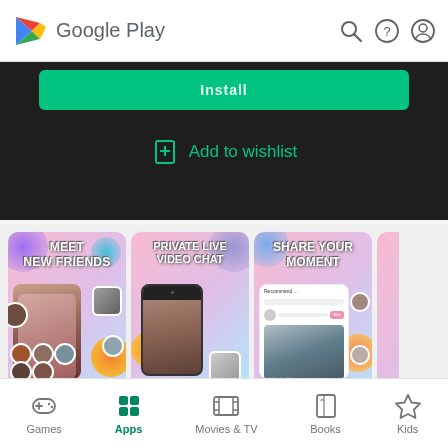Google Play
[Figure (screenshot): Google Play app store page showing install button area with 'Install' button (partially visible, green) and 'Add to wishlist' link on dark background]
[Figure (screenshot): Three app screenshot cards: 'MEET NEW FRIENDS', 'PRIVATE LIVE VIDEO CHAT', 'SHARE YOUR MOMENT' — social/video chat app screenshots on pink gradient backgrounds]
Games  Apps  Movies & TV  Books  Kids